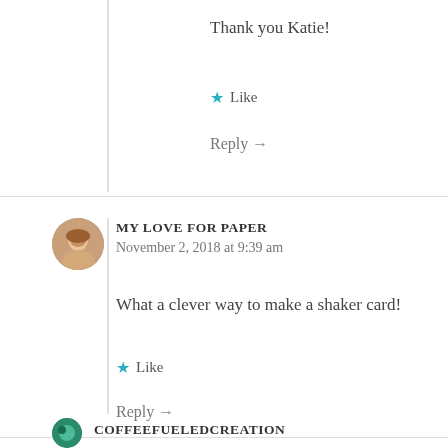Thank you Katie!
Like
Reply →
MY LOVE FOR PAPER
November 2, 2018 at 9:39 am
What a clever way to make a shaker card!
Like
Reply →
COFFEEFUELEDCREATION